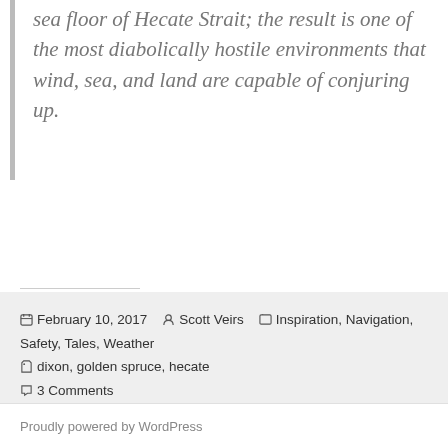sea floor of Hecate Strait; the result is one of the most diabolically hostile environments that wind, sea, and land are capable of conjuring up.
SHARE THIS:
[Figure (other): Four share buttons: email (gray circle), Facebook (blue circle), Twitter (blue circle), print (gray circle)]
February 10, 2017  Scott Veirs  Inspiration, Navigation, Safety, Tales, Weather  dixon, golden spruce, hecate  3 Comments
Proudly powered by WordPress